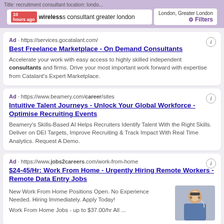Title: recruitment consultant location: londo...
wireless consultant greater london | London, Greater London | Filters
Ad · https://services.gocatalant.com/
Best Freelance Marketplace - On Demand Consultants
Accelerate your work with easy access to highly skilled independent consultants and firms. Drive your most important work forward with expertise from Catalant's Expert Marketplace.
Ad · https://www.beamery.com/career/sites
Intuitive Talent Journeys - Unlock Your Global Workforce - Optimise Recruiting Events
Beamery's Skills-Based AI Helps Recruiters Identify Talent With the Right Skills. Deliver on DEI Targets, Improve Recruiting & Track Impact With Real Time Analytics. Request A Demo.
Ad · https://www.jobs2careers.com/work-from-home
$24-45/Hr: Work From Home - Urgently Hiring Remote Workers - Remote Data Entry Jobs
New Work From Home Positions Open. No Experience Needed. Hiring Immediately. Apply Today!
Work From Home Jobs - up to $37.00/hr All ...
[Figure (photo): Woman with glasses talking on phone, used in jobs2careers ad]